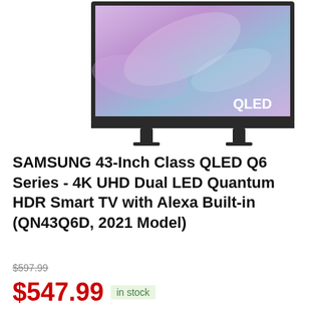[Figure (photo): Samsung QLED TV product photo showing a flat-screen TV on a stand with a colorful purple/blue abstract display and 'QLED' text in the bottom right of the screen. A teal/turquoise bar appears at the very top of the image.]
SAMSUNG 43-Inch Class QLED Q6 Series - 4K UHD Dual LED Quantum HDR Smart TV with Alexa Built-in (QN43Q6D, 2021 Model)
$597.99
$547.99 in stock